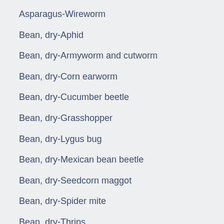Asparagus-Wireworm
Bean, dry-Aphid
Bean, dry-Armyworm and cutworm
Bean, dry-Corn earworm
Bean, dry-Cucumber beetle
Bean, dry-Grasshopper
Bean, dry-Lygus bug
Bean, dry-Mexican bean beetle
Bean, dry-Seedcorn maggot
Bean, dry-Spider mite
Bean, dry-Thrips
Bean, dry-Western bean cutworm
Bean, dry-Wireworm